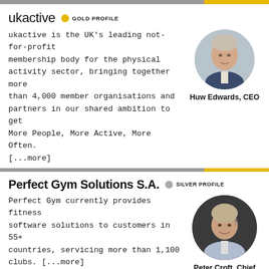ukactive  GOLD PROFILE
ukactive is the UK's leading not-for-profit membership body for the physical activity sector, bringing together more than 4,000 member organisations and partners in our shared ambition to get More People, More Active, More Often. [...more]
[Figure (photo): Circular headshot of Huw Edwards, CEO]
Huw Edwards, CEO
Perfect Gym Solutions S.A.  SILVER PROFILE
Perfect Gym currently provides fitness software solutions to customers in 55+ countries, servicing more than 1,100 clubs. [...more]
[Figure (photo): Circular headshot of Peter Croft, Chief Strategy Officer]
Peter Croft, Chief Strategy Officer